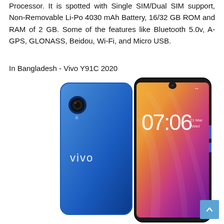Processor. It is spotted with Single SIM/Dual SIM support, Non-Removable Li-Po 4030 mAh Battery, 16/32 GB ROM and RAM of 2 GB. Some of the features like Bluetooth 5.0v, A-GPS, GLONASS, Beidou, Wi-Fi, and Micro USB.
In Bangladesh - Vivo Y91C 2020
[Figure (photo): Photo of Vivo Y91C 2020 smartphone showing front and back views. The back is blue with the Vivo logo and a rear camera. The front shows the lock screen displaying 07:06, 21 Mar, Wed with a colorful gradient wallpaper.]